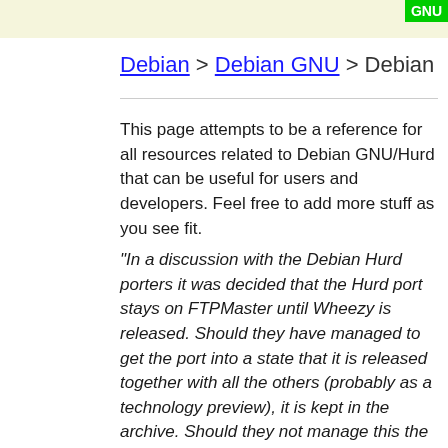GNU
Debian > Debian GNU > Debian GNU/Hurd
This page attempts to be a reference for all resources related to Debian GNU/Hurd that can be useful for users and developers. Feel free to add more stuff as you see fit.
"In a discussion with the Debian Hurd porters it was decided that the Hurd port stays on FTPMaster until Wheezy is released. Should they have managed to get the port into a state that it is released together with all the others (probably as a technology preview), it is kept in the archive. Should they not manage this the port will be removed from the main archive and move fully to debian-ports.org."1